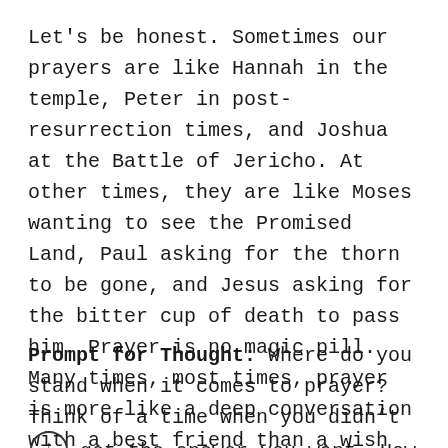Let's be honest. Sometimes our prayers are like Hannah in the temple, Peter in post-resurrection times, and Joshua at the Battle of Jericho. At other times, they are like Moses wanting to see the Promised Land, Paul asking for the thorn to be gone, and Jesus asking for the bitter cup of death to pass him. Prayer is no magic pill. Many times, most times, prayer is more like a deep conversation with a best friend than a wish spoken to a genie in a bottle. Still, God says to us, “Why not ask?”
Prompt for Thought: Where do you stand when it comes to prayer? Think of a time when you didn't get the answer you want. How did God's grace